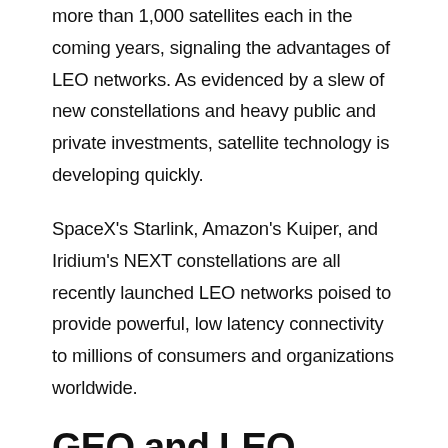more than 1,000 satellites each in the coming years, signaling the advantages of LEO networks. As evidenced by a slew of new constellations and heavy public and private investments, satellite technology is developing quickly.
SpaceX's Starlink, Amazon's Kuiper, and Iridium's NEXT constellations are all recently launched LEO networks poised to provide powerful, low latency connectivity to millions of consumers and organizations worldwide.
GEO and LEO Satellite Communications for Aviation